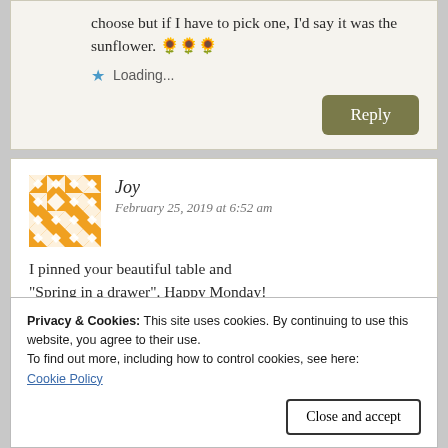choose but if I have to pick one, I'd say it was the sunflower. 🌻🌻🌻
Loading...
Reply
Joy
February 25, 2019 at 6:52 am
I pinned your beautiful table and "Spring in a drawer". Happy Monday!
Privacy & Cookies: This site uses cookies. By continuing to use this website, you agree to their use.
To find out more, including how to control cookies, see here: Cookie Policy
Close and accept